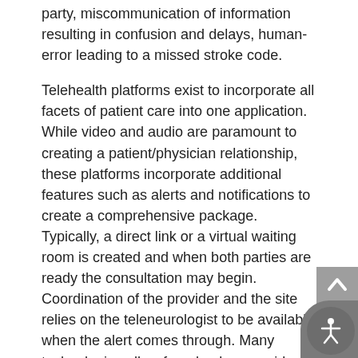party, miscommunication of information resulting in confusion and delays, human-error leading to a missed stroke code.
Telehealth platforms exist to incorporate all facets of patient care into one application. While video and audio are paramount to creating a patient/physician relationship, these platforms incorporate additional features such as alerts and notifications to create a comprehensive package. Typically, a direct link or a virtual waiting room is created and when both parties are ready the consultation may begin. Coordination of the provider and the site relies on the teleneurologist to be available when the alert comes through. Many technologies allow for a backup provider to step in when the on-call teleneurologist is busy.
Healthcare Communication apps allow healthcare teams to harness the power of cell phones, and tablets to quickly assemble a team of professionals to